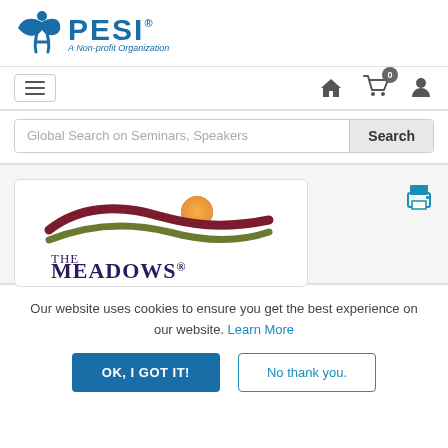[Figure (logo): PESI logo - blue icon with person figure, 'PESI' text in large blue bold letters with registered trademark, tagline 'A Non-profit Organization' in italic blue]
[Figure (logo): The Meadows logo - wavy swoosh design in dark red and olive green with orange sun, text 'THE MEADOWS.' in dark purple serif font]
Our website uses cookies to ensure you get the best experience on our website. Learn More
OK, I GOT IT!
No thank you.